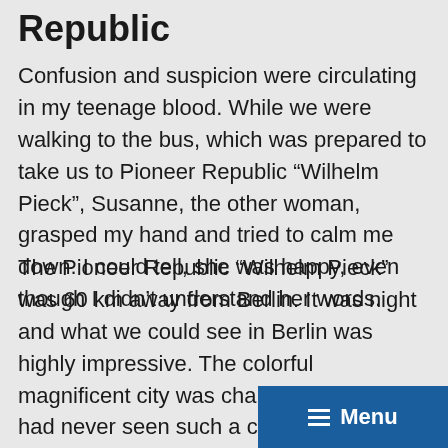Republic
Confusion and suspicion were circulating in my teenage blood. While we were walking to the bus, which was prepared to take us to Pioneer Republic “Wilhelm Pieck”, Susanne, the other woman, grasped my hand and tried to calm me down. I could tell, she was happy, even though I didn’t understand her words.
The Pioneer Republic “Wilhelm Pieck” was 60 km away from Berlin. It was night and what we could see in Berlin was highly impressive. The colorful magnificent city was charming at night. I had never seen such a comfortable bus. Its seats were delicate and every part of it was tidy. There were many oth[er children] of our age and visitors of the su[mmer camp]